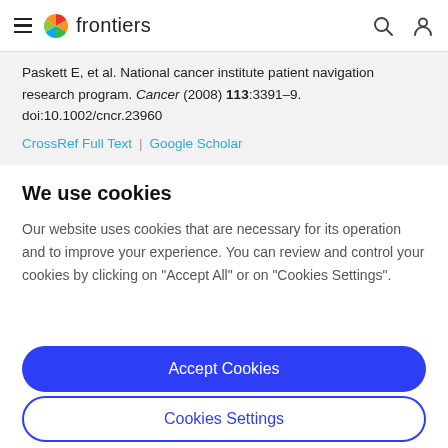frontiers
Paskett E, et al. National cancer institute patient navigation research program. Cancer (2008) 113:3391–9. doi:10.1002/cncr.23960
CrossRef Full Text | Google Scholar
We use cookies
Our website uses cookies that are necessary for its operation and to improve your experience. You can review and control your cookies by clicking on "Accept All" or on "Cookies Settings".
Accept Cookies
Cookies Settings